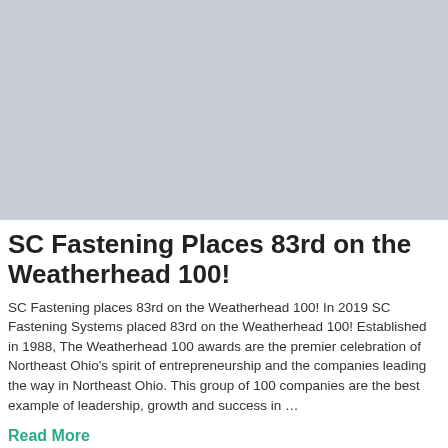[Figure (photo): Gray placeholder image occupying the top portion of the page]
SC Fastening Places 83rd on the Weatherhead 100!
SC Fastening places 83rd on the Weatherhead 100! In 2019 SC Fastening Systems placed 83rd on the Weatherhead 100! Established in 1988, The Weatherhead 100 awards are the premier celebration of Northeast Ohio's spirit of entrepreneurship and the companies leading the way in Northeast Ohio. This group of 100 companies are the best example of leadership, growth and success in …
Read More